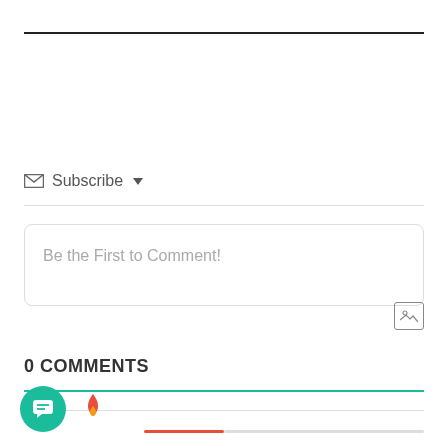Subscribe ▾
Be the First to Comment!
0 COMMENTS
[Figure (other): Chat bubble FAB button (teal circle with white chat icon), fire/flame icon in orange-red, and a progress bar (red segment followed by gray segment)]